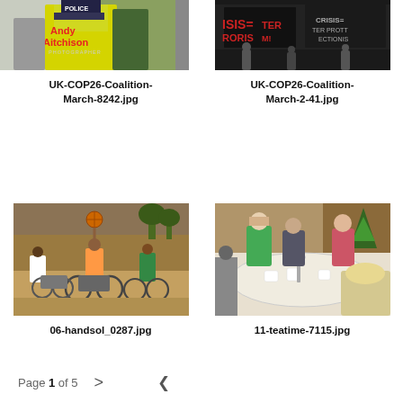[Figure (screenshot): Photographer portfolio website screenshot showing grid of photo thumbnails with filenames]
UK-COP26-Coalition-March-8242.jpg
UK-COP26-Coalition-March-2-41.jpg
[Figure (photo): Wheelchair basketball players in action outdoors]
06-handsol_0287.jpg
[Figure (photo): People sitting around a table at a formal tea or meeting event]
11-teatime-7115.jpg
Page 1 of 5